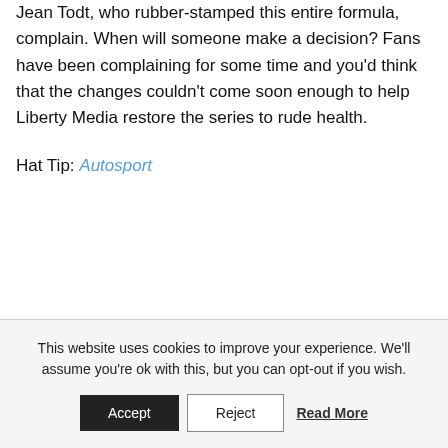Jean Todt, who rubber-stamped this entire formula, complain. When will someone make a decision? Fans have been complaining for some time and you'd think that the changes couldn't come soon enough to help Liberty Media restore the series to rude health.
Hat Tip: Autosport
This website uses cookies to improve your experience. We'll assume you're ok with this, but you can opt-out if you wish.